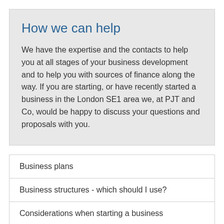How we can help
We have the expertise and the contacts to help you at all stages of your business development and to help you with sources of finance along the way. If you are starting, or have recently started a business in the London SE1 area we, at PJT and Co, would be happy to discuss your questions and proposals with you.
Business plans
Business structures - which should I use?
Considerations when starting a business